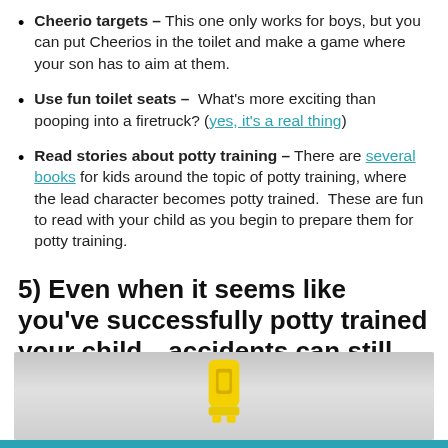Cheerio targets – This one only works for boys, but you can put Cheerios in the toilet and make a game where your son has to aim at them.
Use fun toilet seats – What's more exciting than pooping into a firetruck? (yes, it's a real thing)
Read stories about potty training – There are several books for kids around the topic of potty training, where the lead character becomes potty trained. These are fun to read with your child as you begin to prepare them for potty training.
5) Even when it seems like you've successfully potty trained your child…accidents can still happen.
[Figure (photo): Photo of a small yellow plastic buckle or clip toy on a light gray surface]